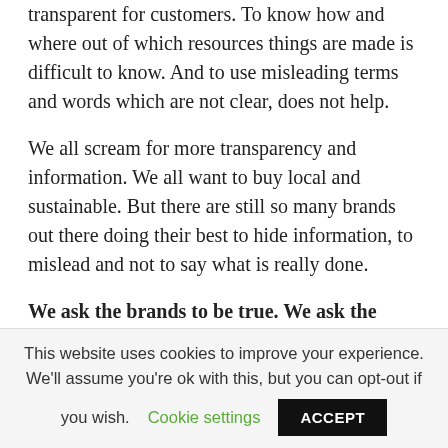The fashion industry is confusing and still not transparent for customers. To know how and where out of which resources things are made is difficult to know. And to use misleading terms and words which are not clear, does not help.
We all scream for more transparency and information. We all want to buy local and sustainable. But there are still so many brands out there doing their best to hide information, to mislead and not to say what is really done.
We ask the brands to be true. We ask the
This website uses cookies to improve your experience. We'll assume you're ok with this, but you can opt-out if you wish. Cookie settings ACCEPT